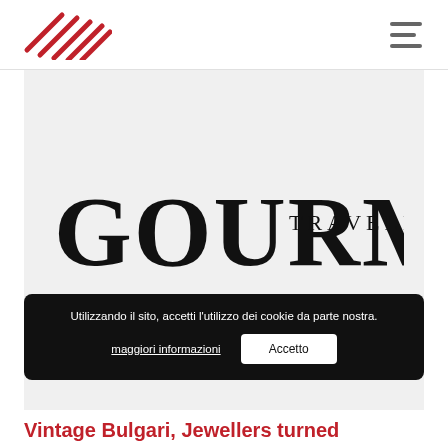[Figure (logo): Red diagonal striped logo in top-left corner of navigation bar]
[Figure (logo): GOURMET TRAVELLER magazine logo in large serif black text on light gray background]
Utilizzando il sito, accetti l'utilizzo dei cookie da parte nostra.
maggiori informazioni
Accetto
Vintage Bulgari, Jewellers turned